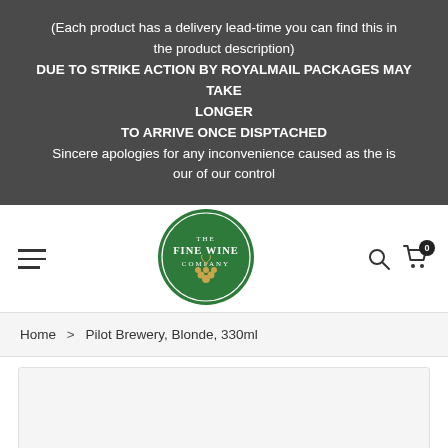(Each product has a delivery lead-time you can find this in the product description) DUE TO STRIKE ACTION BY ROYALMAIL PACKAGES MAY TAKE LONGER TO ARRIVE ONCE DISPTACHED Sincere apologies for any inconvenience caused as the is our of our control
[Figure (logo): The Fine Wine Company circular green logo with gold grape cluster]
Home > Pilot Brewery, Blonde, 330ml